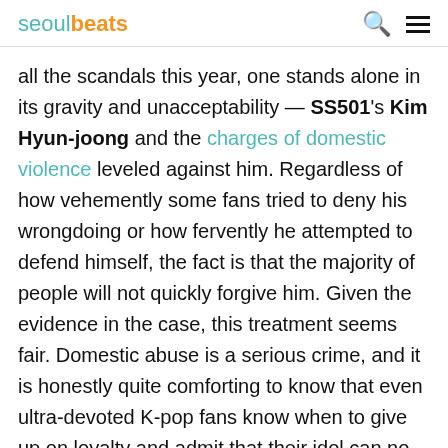seoulbeats
all the scandals this year, one stands alone in its gravity and unacceptability — SS501's Kim Hyun-joong and the charges of domestic violence leveled against him. Regardless of how vehemently some fans tried to deny his wrongdoing or how fervently he attempted to defend himself, the fact is that the majority of people will not quickly forgive him. Given the evidence in the case, this treatment seems fair. Domestic abuse is a serious crime, and it is honestly quite comforting to know that even ultra-devoted K-pop fans know when to give up on loyalty and admit that their idol can no longer be defended.